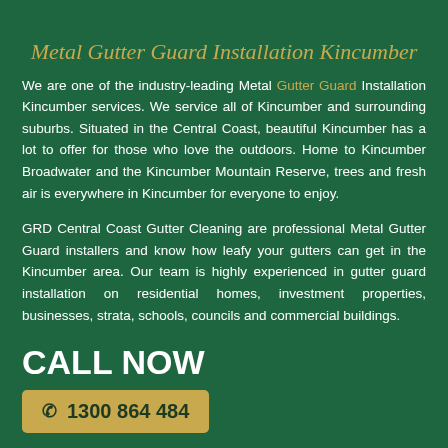Metal Gutter Guard Installation Kincumber
We are one of the industry-leading Metal Gutter Guard Installation Kincumber services. We service all of Kincumber and surrounding suburbs. Situated in the Central Coast, beautiful Kincumber has a lot to offer for those who love the outdoors. Home to Kincumber Broadwater and the Kincumber Mountain Reserve, trees and fresh air is everywhere in Kincumber for everyone to enjoy.
GRD Central Coast Gutter Cleaning are professional Metal Gutter Guard installers and know how leafy your gutters can get in the Kincumber area. Our team is highly experienced in gutter guard installation on residential homes, investment properties, businesses, strata, schools, councils and commercial buildings.
CALL NOW
1300 864 484